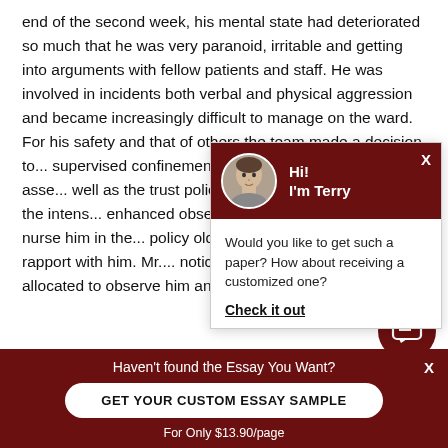end of the second week, his mental state had deteriorated so much that he was very paranoid, irritable and getting into arguments with fellow patients and staff. He was involved in incidents both verbal and physical aggression and became increasingly difficult to manage on the ward. For his safety and that of others the team made a decision to... supervised confinement bas... having carried out risk asse... well as the trust policy. As pa... was transferred to the intens... enhanced observation by tw... allocated to nurse him in the... policy old allow, so as to ass... build a rapport with him. Mr.... noticed that I was frequently allocated to observe him an...
[Figure (other): Chat popup with avatar of Terry, dark red header, message asking if user wants a customized paper, and a Check it out link]
Haven't found the Essay You Want?
GET YOUR CUSTOM ESSAY SAMPLE
For Only $13.90/page